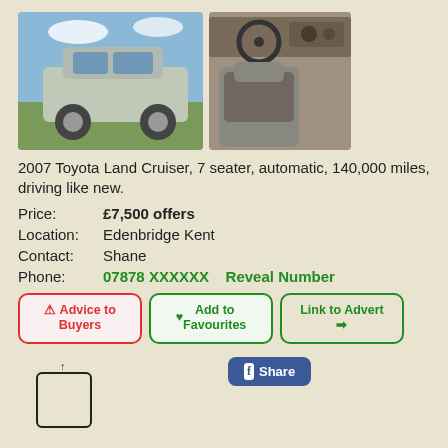[Figure (photo): Two photos of a 2007 Toyota Land Cruiser: exterior silver SUV on grass (left), interior driver seat view (right)]
2007 Toyota Land Cruiser, 7 seater, automatic, 140,000 miles, driving like new.
Price: £7,500 offers
Location: Edenbridge Kent
Contact: Shane
Phone: 07878 XXXXXX    Reveal Number
⚠ Advice to Buyers  ♥ Add to Favourites  Link to Advert ➔  f Share